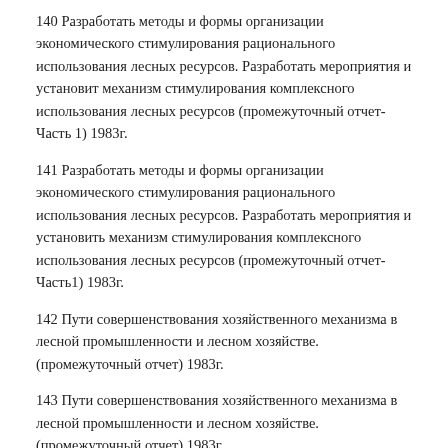140 Разработать методы и формы организации экономического стимулирования рационального использования лесных ресурсов. Разработать мероприятия и установит механизм стимулирования комплексного использования лесных ресурсов (промежуточный отчет-Часть 1) 1983г.
141 Разработать методы и формы организации экономического стимулирования рационального использования лесных ресурсов. Разработать мероприятия и установить механизм стимулирования комплексного использования лесных ресурсов (промежуточный отчет-Часть1) 1983г.
142 Пути совершенствования хозяйственного механизма в лесной промышленности и лесном хозяйстве. (промежуточный отчет) 1983г.
143 Пути совершенствования хозяйственного механизма в лесной промышленности и лесном хозяйстве. (промежуточный отчет) 1983г.
144 Разработать мероприятия по улучшению использования